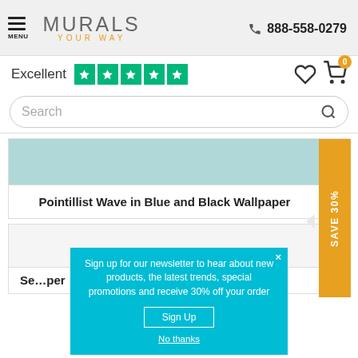MURALS YOUR WAY | 888-558-0279
Excellent ★★★★★
Search
Pointillist Wave in Blue and Black Wallpaper
SAVE 30%
Se...per
Sign up for our newsletter to hear about new products, the latest trends, special promotions and receive 30% off your order
Sign Up
No thanks